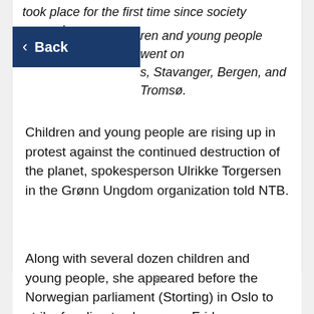took place for the first time since society opened.
[Figure (screenshot): Dark blue 'Back' button with left arrow chevron]
ren and young people went on s, Stavanger, Bergen, and Tromsø.
Children and young people are rising up in protest against the continued destruction of the planet, spokesperson Ulrikke Torgersen in the Grønn Ungdom organization told NTB.
Along with several dozen children and young people, she appeared before the Norwegian parliament (Storting) in Oslo to strike for climate change on Friday.